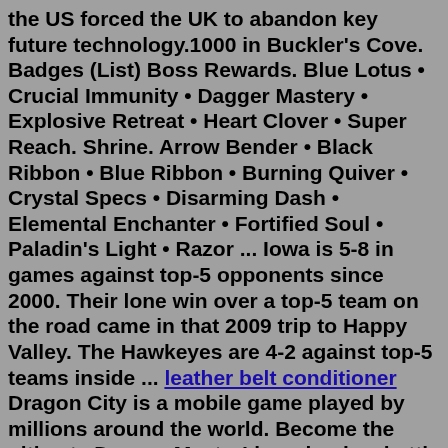the US forced the UK to abandon key future technology.1000 in Buckler's Cove. Badges (List) Boss Rewards. Blue Lotus • Crucial Immunity • Dagger Mastery • Explosive Retreat • Heart Clover • Super Reach. Shrine. Arrow Bender • Black Ribbon • Blue Ribbon • Burning Quiver • Crystal Specs • Disarming Dash • Elemental Enchanter • Fortified Soul • Paladin's Light • Razor ... Iowa is 5-8 in games against top-5 opponents since 2000. Their lone win over a top-5 team on the road came in that 2009 trip to Happy Valley. The Hawkeyes are 4-2 against top-5 teams inside ... leather belt conditioner Dragon City is a mobile game played by millions around the world. Become the ultimate Dragon Master! breed, raise, battle and collect thousands of exotic Update: I think I found out - if you don't own the dragon you'll get from that breeding, it will show the golden heart. Also, when clicking it it shows a...Golden Hearts Games™ - Play games, win cash, and support charity! | Online Bingo Game Reddit if I'm looking to make trades. And then for new stuff... Best Buy f